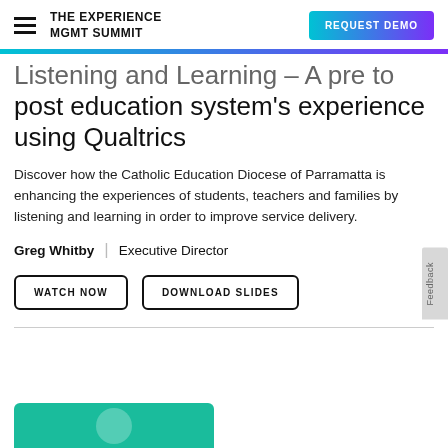THE EXPERIENCE MGMT SUMMIT | REQUEST DEMO
Listening and Learning – A pre to post education system's experience using Qualtrics
Discover how the Catholic Education Diocese of Parramatta is enhancing the experiences of students, teachers and families by listening and learning in order to improve service delivery.
Greg Whitby | Executive Director
WATCH NOW   DOWNLOAD SLIDES